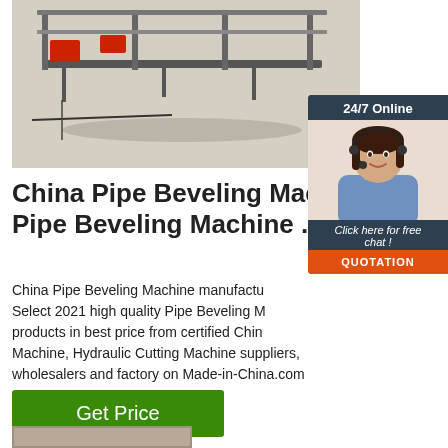[Figure (photo): Industrial pipe beveling machine in a warehouse/factory floor, showing metal frame and red components]
[Figure (photo): 24/7 Online chat widget with a smiling female customer service agent wearing a headset, with 'Click here for free chat!' text and QUOTATION button]
China Pipe Beveling Machine, Pipe Beveling Machine ...
China Pipe Beveling Machine manufacturers - Select 2021 high quality Pipe Beveling Machine products in best price from certified China Cutting Machine, Hydraulic Cutting Machine suppliers, wholesalers and factory on Made-in-China.com
[Figure (photo): Partial view of another product image at the bottom of the page]